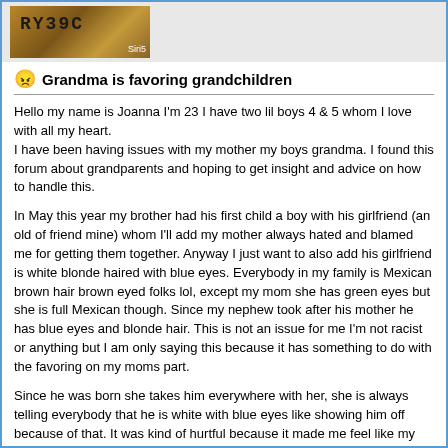[Figure (photo): A forum post header image showing what appears to be a license plate or decorative sign with letters 'RY39' and similar text, with label 'Siri5' in the corner, displayed against a brownish/golden background.]
Grandma is favoring grandchildren
Hello my name is Joanna I'm 23 I have two lil boys 4 & 5 whom I love with all my heart.
I have been having issues with my mother my boys grandma. I found this forum about grandparents and hoping to get insight and advice on how to handle this.

In May this year my brother had his first child a boy with his girlfriend (an old of friend mine) whom I'll add my mother always hated and blamed me for getting them together. Anyway I just want to also add his girlfriend is white blonde haired with blue eyes. Everybody in my family is Mexican brown hair brown eyed folks lol, except my mom she has green eyes but she is full Mexican though. Since my nephew took after his mother he has blue eyes and blonde hair. This is not an issue for me I'm not racist or anything but I am only saying this because it has something to do with the favoring on my moms part.

Since he was born she takes him everywhere with her, she is always telling everybody that he is white with blue eyes like showing him off because of that. It was kind of hurtful because it made me feel like my kids aren't special like my nephew because they have brown eyes. At first It did not bother me, I knew she would be a little excited since that is something different in our family, but it has been 7 months and it's the same. The other thing that hurts me is that every weekend she